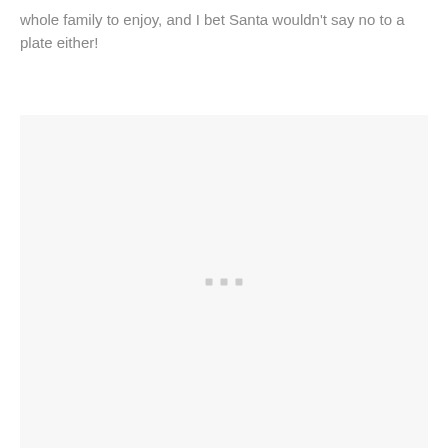whole family to enjoy, and I bet Santa wouldn't say no to a plate either!
[Figure (photo): A large light gray placeholder image area with three small gray squares centered near the middle, indicating a loading or missing image.]